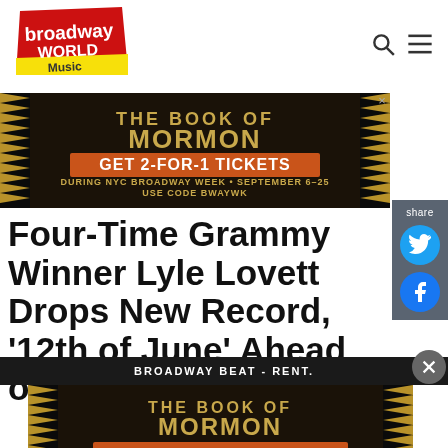BroadwayWorld Music
[Figure (infographic): The Book of Mormon advertisement: GET 2-FOR-1 TICKETS DURING NYC BROADWAY WEEK • SEPTEMBER 6-25 USE CODE BWAYWK GET TICKETS]
Four-Time Grammy Winner Lyle Lovett Drops New Record, '12th of June' Ahead of...
[Figure (infographic): Broadway Beat - RENT. banner bar]
[Figure (infographic): The Book of Mormon advertisement (bottom): GET 2-FOR-1 TICKETS DURING NYC BROADWAY WEEK • SEPTEMBER 6-25 USE CODE BWAYWK GET TICKETS]